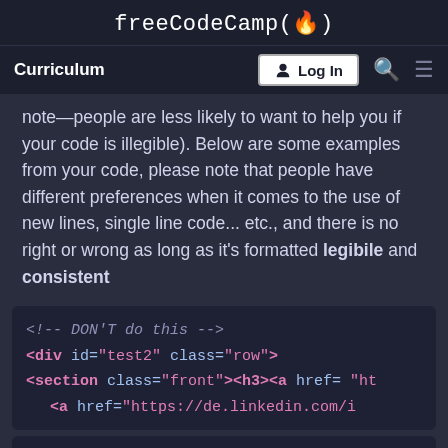freeCodeCamp(🔥)
Curriculum | Log In
note—people are less likely to want to help you if your code is illegible). Below are some examples from your code, please note that people have different preferences when it comes to the use of new lines, single line code... etc., and there is no right or wrong as long as it's formatted legibile and consistent
[Figure (screenshot): Code block showing DON'T do this comment, div with id=test2 class=row, section with class=front and h3 and a href= ht..., a href=https://de.linkedin.com/i...]
[Figure (screenshot): Code block starting with <!-- At least do something like this --]